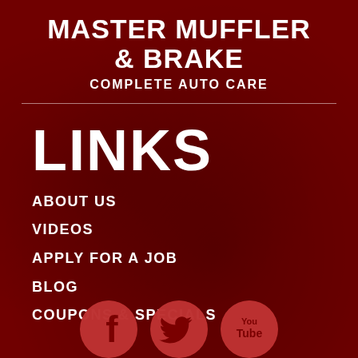MASTER MUFFLER & BRAKE
COMPLETE AUTO CARE
LINKS
ABOUT US
VIDEOS
APPLY FOR A JOB
BLOG
COUPONS & SPECIALS
[Figure (illustration): Social media icons row: Facebook, Twitter, YouTube circles at bottom of page]